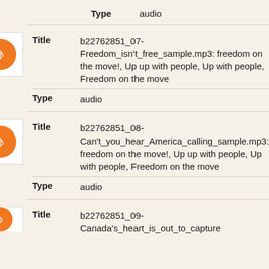Type    audio
[Figure (illustration): Orange music note icon in white box]
Title    b22762851_07-Freedom_isn't_free_sample.mp3: freedom on the move!, Up up with people, Up with people, Freedom on the move
Type    audio
[Figure (illustration): Orange music note icon in white box]
Title    b22762851_08-Can't_you_hear_America_calling_sample.mp3: freedom on the move!, Up up with people, Up with people, Freedom on the move
Type    audio
[Figure (illustration): Orange music note icon partially visible at bottom]
Title    b22762851_09-Canada's_heart_is_out_to_capture